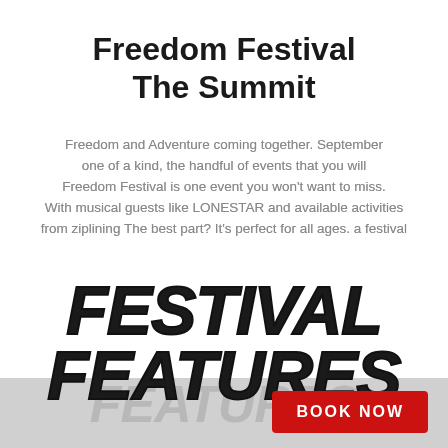Freedom Festival
The Summit
Freedom and Adventure coming together. September one of a kind, the handful of events that you will Freedom Festival is one event you won't want to miss. With musical guests like LONESTAR and available activities from ziplining The best part? It's perfect for all ages. a festival
FESTIVAL FEATURES
[Figure (illustration): Gray footer band at the bottom with faded FEATURES text]
BOOK NOW